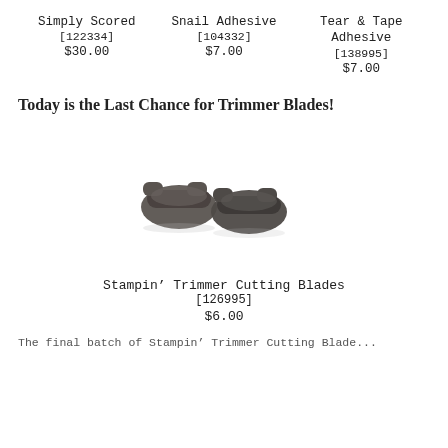Simply Scored [122334] $30.00
Snail Adhesive [104332] $7.00
Tear & Tape Adhesive [138995] $7.00
Today is the Last Chance for Trimmer Blades!
[Figure (photo): Two dark gray metal trimmer cutting blades photographed on white background]
Stampin' Trimmer Cutting Blades [126995] $6.00
The final batch of Stampin' Trimmer Cutting Blade...